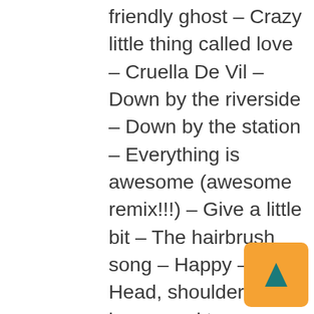friendly ghost – Crazy little thing called love – Cruella De Vil – Down by the riverside – Down by the station – Everything is awesome (awesome remix!!!) – Give a little bit – The hairbrush song – Happy – Head, shoulders, knees and toes – Home on the range – How far I'll go – How much is that doggie in the window – I know an old lady who swallowed a fly – I whistle a happy tune – I'll be there – Imagine – Kookaburra (Kookaburra sits in the old gum tree) – Macarena – Magic penny – Make new friends – More we get together – The name game – Never smile at a crocodile – Oh where, oh where has my little dog gone – Old MacDonald – Pop goes the weasel –